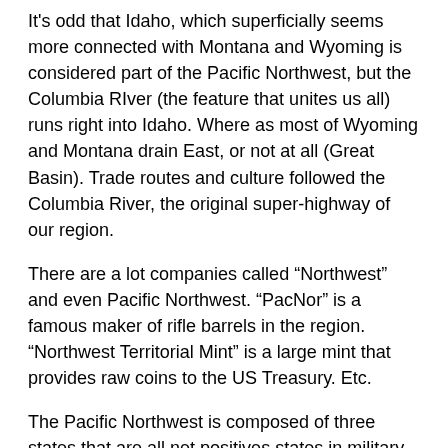It's odd that Idaho, which superficially seems more connected with Montana and Wyoming is considered part of the Pacific Northwest, but the Columbia RIver (the feature that unites us all) runs right into Idaho. Where as most of Wyoming and Montana drain East, or not at all (Great Basin). Trade routes and culture followed the Columbia River, the original super-highway of our region.
There are a lot companies called “Northwest” and even Pacific Northwest. “PacNor” is a famous maker of rifle barrels in the region. “Northwest Territorial Mint” is a large mint that provides raw coins to the US Treasury. Etc.
The Pacific Northwest is composed of three states that are all net positives states in military enlistments to varying degrees. The region averages 1.25., which is a bit higher than the South region as defined by Heritage at 1.19, and just a hair under the most patriotic sub-region of the South, again as defined by Heritage, the Texas dominated “West South Central” at 1.26.